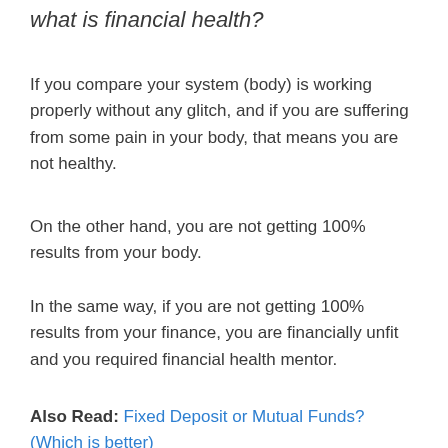what is financial health?
If you compare your system (body) is working properly without any glitch, and if you are suffering from some pain in your body, that means you are not healthy.
On the other hand, you are not getting 100% results from your body.
In the same way, if you are not getting 100% results from your finance, you are financially unfit and you required financial health mentor.
Also Read: Fixed Deposit or Mutual Funds? (Which is better)